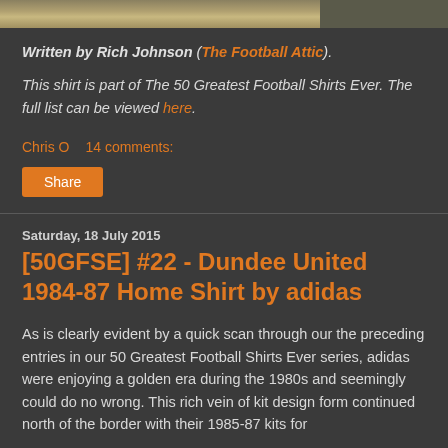[Figure (photo): Partial top strip of a photo, likely a football player]
Written by Rich Johnson (The Football Attic).
This shirt is part of The 50 Greatest Football Shirts Ever. The full list can be viewed here.
Chris O     14 comments:
Share
Saturday, 18 July 2015
[50GFSE] #22 - Dundee United 1984-87 Home Shirt by adidas
As is clearly evident by a quick scan through our the preceding entries in our 50 Greatest Football Shirts Ever series, adidas were enjoying a golden era during the 1980s and seemingly could do no wrong. This rich vein of kit design form continued north of the border with their 1985-87 kits for